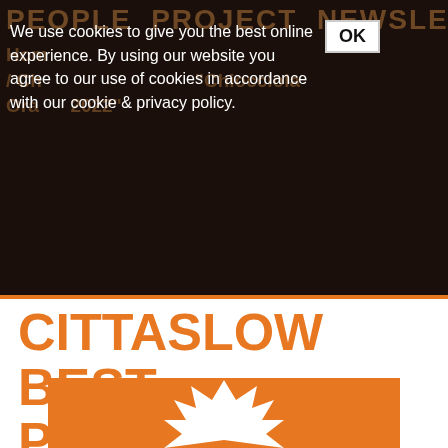PEOPLE  PROJECT  NEWSLETTER
Home / ... / Chiocciola Orange '"Chiocciola Orange 2022"'
We use cookies to give you the best online experience. By using our website you agree to our use of cookies in accordance with our cookie & privacy policy.
CITTASLOW BEST PRACTICES PRIZE "CHIOCCIOLA ORANGE 2022"
[Figure (illustration): Orange background with white burst/crown snail logo shape at the bottom of the page]